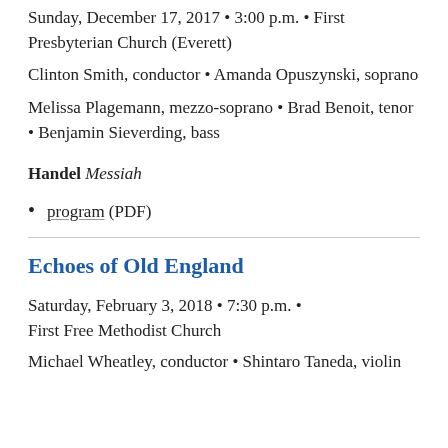Sunday, December 17, 2017 • 3:00 p.m. • First Presbyterian Church (Everett)
Clinton Smith, conductor • Amanda Opuszynski, soprano
Melissa Plagemann, mezzo-soprano • Brad Benoit, tenor • Benjamin Sieverding, bass
Handel Messiah
program (PDF)
Echoes of Old England
Saturday, February 3, 2018 • 7:30 p.m. • First Free Methodist Church
Michael Wheatley, conductor • Shintaro Taneda, violin